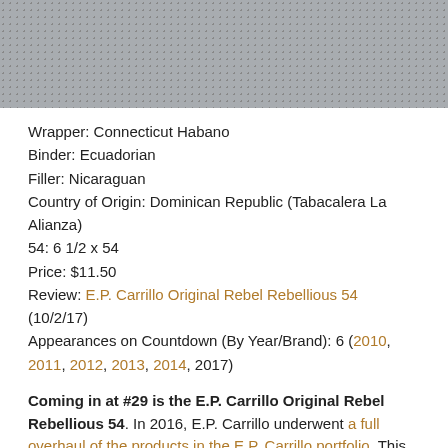[Figure (photo): Close-up photo of a cigar texture showing a dotted/patterned wrapper surface in grey tones]
Wrapper: Connecticut Habano
Binder: Ecuadorian
Filler: Nicaraguan
Country of Origin: Dominican Republic (Tabacalera La Alianza)
54: 6 1/2 x 54
Price: $11.50
Review: E.P. Carrillo Original Rebel Rebellious 54 (10/2/17)
Appearances on Countdown (By Year/Brand): 6 (2010, 2011, 2012, 2013, 2014, 2017)
Coming in at #29 is the E.P. Carrillo Original Rebel Rebellious 54. In 2016, E.P. Carrillo underwent a full overhaul of the products in the E.P. Carrillo portfolio. This consisted of a combination of re-blends, re-packaging, and new lines. One new line that was introduced was the Original Rebel. It was a name given to company founder Ernesto Perez-Carrillo Jr. by Alan Rubin of Alec Bradley. The name stuck with Perez-Carrillo and it inspired him to introduce two new blends under Original Rebel – Maverick (a natural wrapper) and Rebellious (a Connecticut Broadleaf Maduro). It is the Rebellious in the 54 (Robusto) size that returns